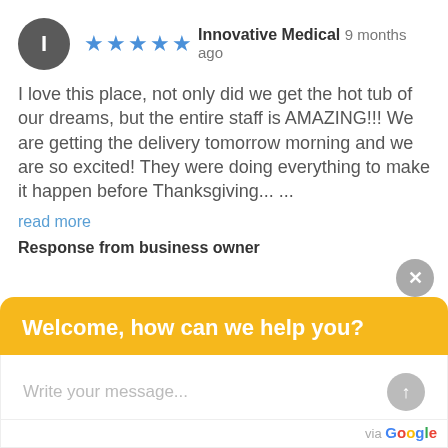[Figure (screenshot): Gray circle avatar with white letter I]
★★★★★ Innovative Medical 9 months ago
I love this place, not only did we get the hot tub of our dreams, but the entire staff is AMAZING!!! We are getting the delivery tomorrow morning and we are so excited! They were doing everything to make it happen before Thanksgiving... ...
read more
Response from business owner
Welcome, how can we help you?
Write your message...